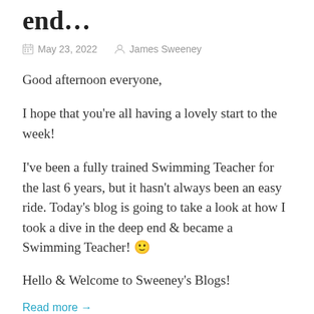end…
May 23, 2022   James Sweeney
Good afternoon everyone,
I hope that you're all having a lovely start to the week!
I've been a fully trained Swimming Teacher for the last 6 years, but it hasn't always been an easy ride. Today's blog is going to take a look at how I took a dive in the deep end & became a Swimming Teacher! 🙂
Hello & Welcome to Sweeney's Blogs!
Read more →
Advertisements